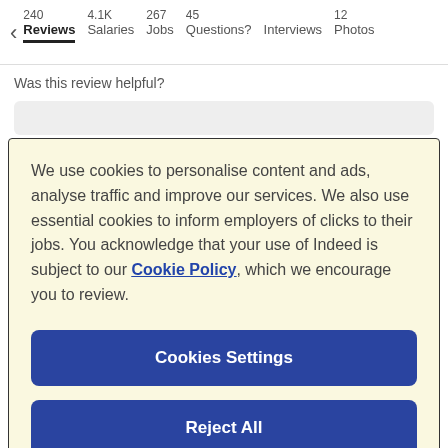240 Reviews  4.1K Salaries  267 Jobs  45 Questions?  Interviews  12 Photos
Was this review helpful?
We use cookies to personalise content and ads, analyse traffic and improve our services. We also use essential cookies to inform employers of clicks to their jobs. You acknowledge that your use of Indeed is subject to our Cookie Policy, which we encourage you to review.
Cookies Settings
Reject All
Accept All Cookies